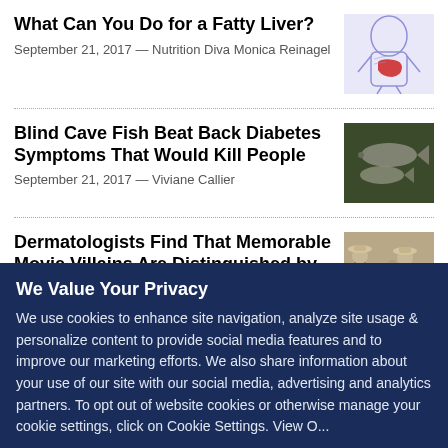What Can You Do for a Fatty Liver?
September 21, 2017 — Nutrition Diva Monica Reinagel
[Figure (illustration): Medical illustration of human body with liver highlighted in red/purple]
Blind Cave Fish Beat Back Diabetes Symptoms That Would Kill People
September 21, 2017 — Viviane Callier
[Figure (photo): Photo of blind cave fish]
Dermatologists Find That Memorable Movie Villains Are Distinguished by
[Figure (photo): Photo of figures in cowboy hats, movie villains]
We Value Your Privacy
We use cookies to enhance site navigation, analyze site usage & personalize content to provide social media features and to improve our marketing efforts. We also share information about your use of our site with our social media, advertising and analytics partners. To opt out of website cookies or otherwise manage your cookie settings, click on Cookie Settings. View O...